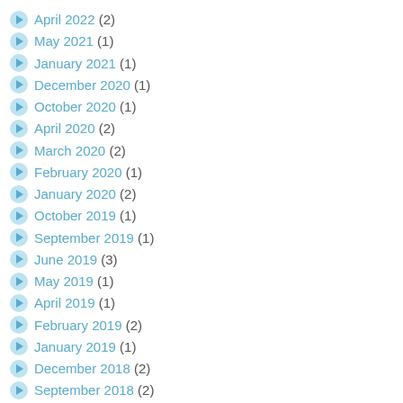April 2022 (2)
May 2021 (1)
January 2021 (1)
December 2020 (1)
October 2020 (1)
April 2020 (2)
March 2020 (2)
February 2020 (1)
January 2020 (2)
October 2019 (1)
September 2019 (1)
June 2019 (3)
May 2019 (1)
April 2019 (1)
February 2019 (2)
January 2019 (1)
December 2018 (2)
September 2018 (2)
August 2018 (3)
June 2018 (1)
March 2018 (1)
January 2018 (1)